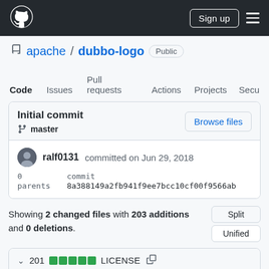GitHub navigation bar with logo, Sign up button, and menu
apache / dubbo-logo  Public
Code  Issues  Pull requests  Actions  Projects  Secu
Initial commit  Browse files  master
ralf0131 committed on Jun 29, 2018
0 parents    commit 8a388149a2fb941f9ee7bcc10cf00f9566ab
Showing 2 changed files with 203 additions and 0 deletions.
201  LICENSE